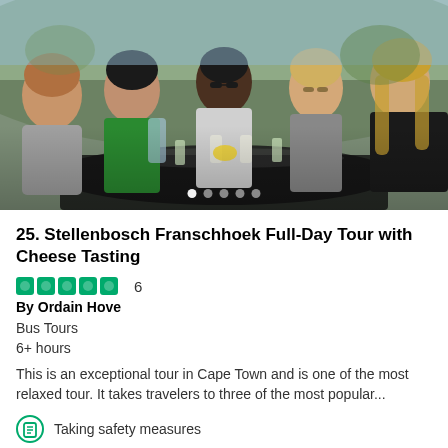[Figure (photo): Group of five people sitting around an outdoor table with drinks and glasses, smiling at the camera on a sunny day]
25. Stellenbosch Franschhoek Full-Day Tour with Cheese Tasting
6 reviews, By Ordain Hove
Bus Tours
6+ hours
This is an exceptional tour in Cape Town and is one of the most relaxed tour. It takes travelers to three of the most popular...
Taking safety measures
Free cancellation